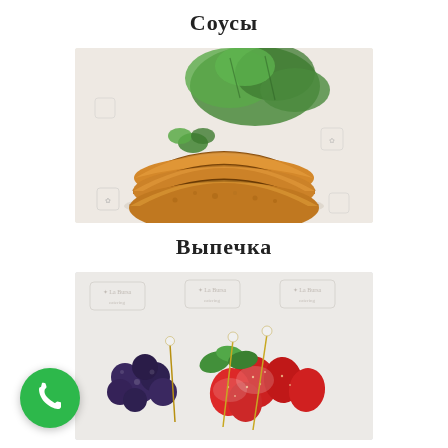Соусы
[Figure (photo): Photo of golden-brown baked pastries (cheburek or empanada style) on branded paper with fresh green mint leaves]
Выпечка
[Figure (photo): Photo of fresh berries (strawberries and blueberries) with mint leaves on sticks/skewers on branded paper]
[Figure (other): Green phone call button icon in bottom left corner]